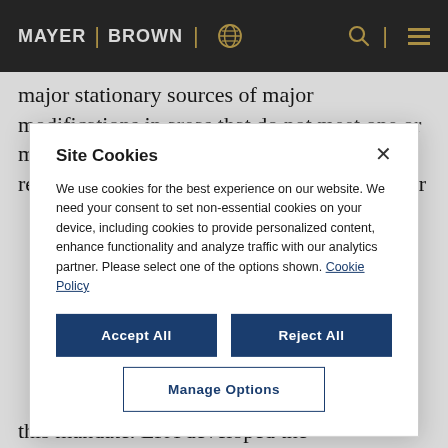MAYER | BROWN
major stationary sources of major modifications in areas that do not meet one or more of the NAAQS. A minor NSR permit is required for any new or modified source of air
Site Cookies
We use cookies for the best experience on our website. We need your consent to set non-essential cookies on your device, including cookies to provide personalized content, enhance functionality and analyze traffic with our analytics partner. Please select one of the options shown. Cookie Policy
this mandate. EPA developed the